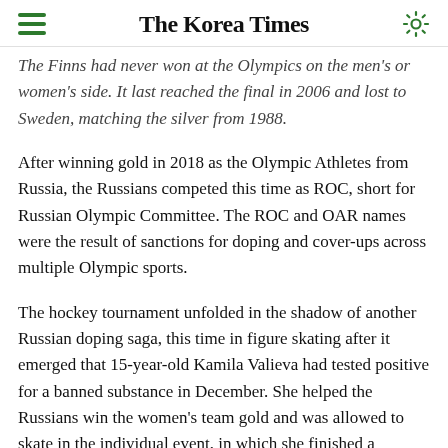The Korea Times
The Finns had never won at the Olympics on the men's or women's side. It last reached the final in 2006 and lost to Sweden, matching the silver from 1988.
After winning gold in 2018 as the Olympic Athletes from Russia, the Russians competed this time as ROC, short for Russian Olympic Committee. The ROC and OAR names were the result of sanctions for doping and cover-ups across multiple Olympic sports.
The hockey tournament unfolded in the shadow of another Russian doping saga, this time in figure skating after it emerged that 15-year-old Kamila Valieva had tested positive for a banned substance in December. She helped the Russians win the women's team gold and was allowed to skate in the individual event, in which she finished a disappointing fourth